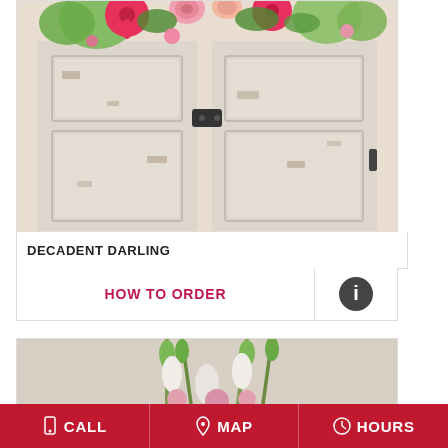[Figure (photo): Floral arrangement on distressed white double doors with pink gerbera daisies, roses, green hydrangeas and mixed flowers at top]
DECADENT DARLING
HOW TO ORDER
[Figure (photo): Tall floral arrangement with white snapdragons, green bells of Ireland, and pink flowers in a vase]
CALL   MAP   HOURS